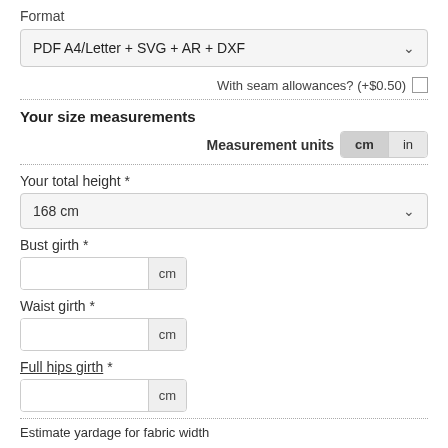Format
PDF A4/Letter + SVG + AR + DXF
With seam allowances? (+$0.50)
Your size measurements
Measurement units  cm  in
Your total height *
168 cm
Bust girth *
cm
Waist girth *
cm
Full hips girth *
cm
Estimate yardage for fabric width